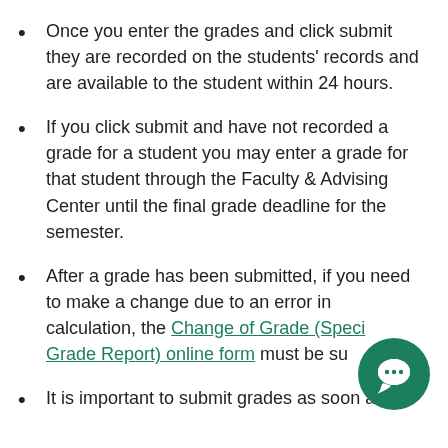Once you enter the grades and click submit they are recorded on the students' records and are available to the student within 24 hours.
If you click submit and have not recorded a grade for a student you may enter a grade for that student through the Faculty & Advising Center until the final grade deadline for the semester.
After a grade has been submitted, if you need to make a change due to an error in calculation, the Change of Grade (Special Grade Report) online form must be su[bmitted].
It is important to submit grades as soon as